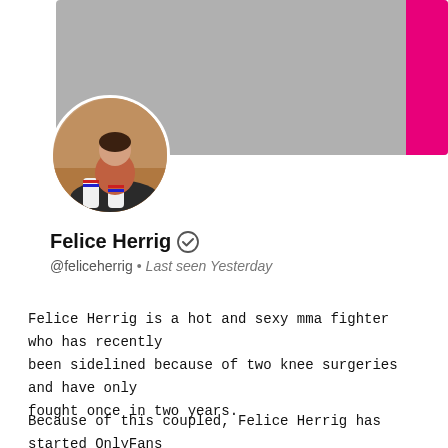[Figure (screenshot): Social media profile banner — gray background with a pink vertical bar on the right side]
[Figure (photo): Circular profile photo of Felice Herrig sitting on a mat in a gym, wearing white knee-high socks and a red top]
Felice Herrig ✓
@feliceherrig • Last seen Yesterday
Felice Herrig is a hot and sexy mma fighter who has recently been sidelined because of two knee surgeries and have only fought once in two years.
Because of this coupled, Felice Herrig has started OnlyFans